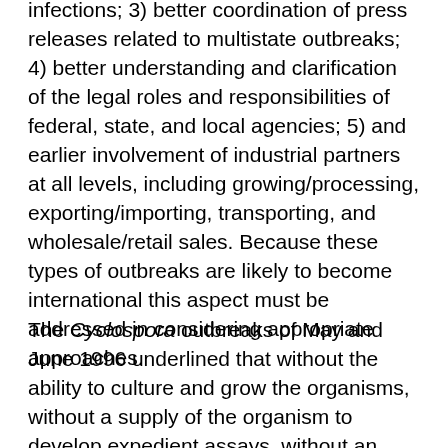infections; 3) better coordination of press releases related to multistate outbreaks; 4) better understanding and clarification of the legal roles and responsibilities of federal, state, and local agencies; 5) and earlier involvement of industrial partners at all levels, including growing/processing, exporting/importing, transporting, and wholesale/retail sales. Because these types of outbreaks are likely to become international this aspect must be addressed in considering appropriate approaches.
The Cyclospora outbreaks of May and June 1996 underlined that without the ability to culture and grow the organisms, without a supply of the organism to develop expedient assays, without an established coordinating body to expedite agreed-upon means for dissemination of information, we, as public health